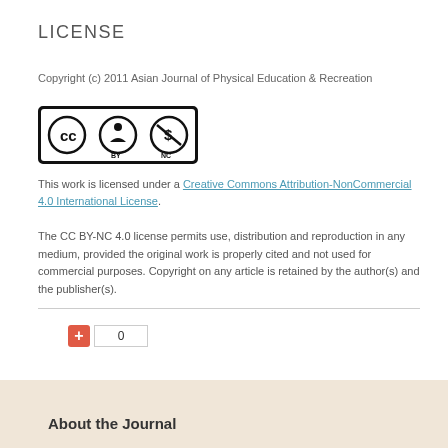LICENSE
Copyright (c) 2011 Asian Journal of Physical Education & Recreation
[Figure (logo): Creative Commons BY-NC license badge showing CC, BY, and NC icons in a black bordered rectangle]
This work is licensed under a Creative Commons Attribution-NonCommercial 4.0 International License.
The CC BY-NC 4.0 license permits use, distribution and reproduction in any medium, provided the original work is properly cited and not used for commercial purposes. Copyright on any article is retained by the author(s) and the publisher(s).
About the Journal